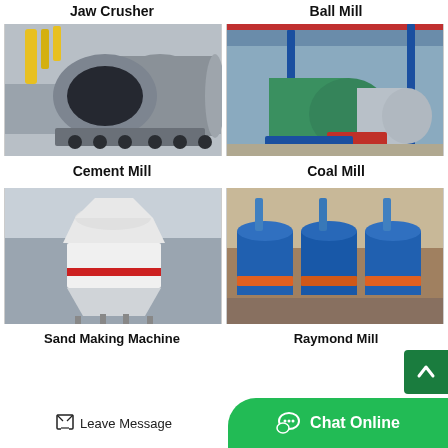Jaw Crusher
Ball Mill
[Figure (photo): Large cylindrical cement mill on flatbed transport truck in a factory yard, grey metal body]
[Figure (photo): Ball mill equipment in blue industrial factory with green and red motor components]
Cement Mill
Coal Mill
[Figure (photo): White and red sand making machine (VSI crusher) in a factory setting]
[Figure (photo): Blue Raymond mill machines lined up in a factory]
Sand Making Machine
Raymond Mill
Leave Message
Chat Online